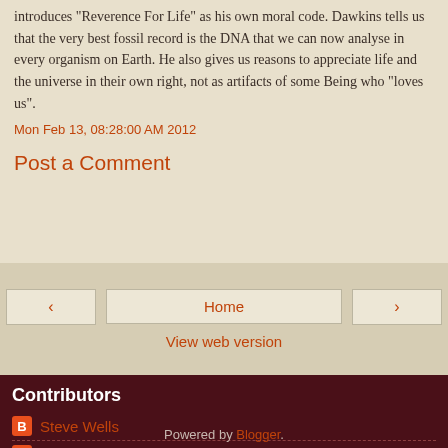introduces "Reverence For Life" as his own moral code. Dawkins tells us that the very best fossil record is the DNA that we can now analyse in every organism on Earth. He also gives us reasons to appreciate life and the universe in their own right, not as artifacts of some Being who "loves us".
Mon Feb 13, 08:28:00 AM 2012
Post a Comment
‹
Home
›
View web version
Contributors
Steve Wells
Unknown
Powered by Blogger.